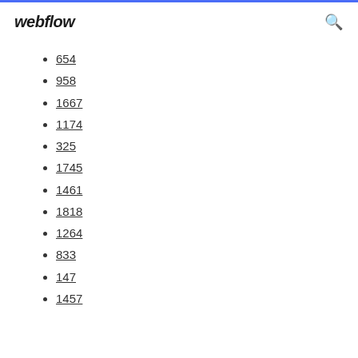webflow
654
958
1667
1174
325
1745
1461
1818
1264
833
147
1457